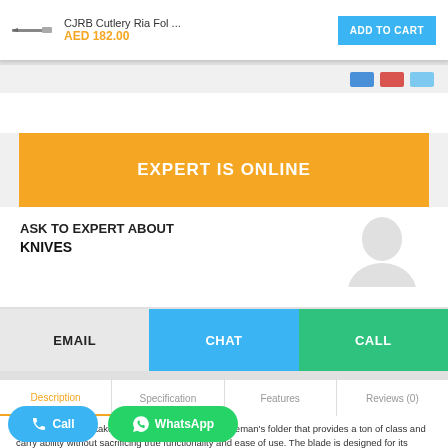CJRB Cutlery Ria Fol ... AED 182.00 | ADD TO CART
[Figure (screenshot): Color swatches strip with blue, red, and light blue swatches]
EXPERT IS ONLINE
ASK TO EXPERT ABOUT
KNIVES
EMAIL  CHAT  CALL
Description  Specification  Features  Reviews (0)
The Ria is CJRB's take on a sleek and elegant gentleman's folder that provides a ton of class and carry ability without sacrificing true functionality and ease of use. The blade is designed for its small size, the Ria can hold its own against larger and doing better than any of them.
Ever pick up a knife and just know that it's perfect for what you need it for? That's the Ria